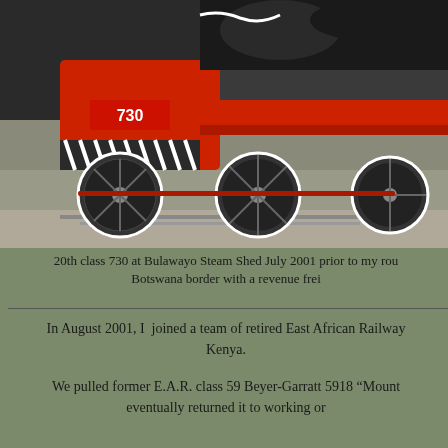[Figure (photo): Close-up photograph of a steam locomotive, number 730, a 20th class engine at Bulawayo Steam Shed, showing red and black machinery, large wheels, and track in foreground. Photo taken July 2001.]
20th class 730 at Bulawayo Steam Shed July 2001 prior to my rou... Botswana border with a revenue frei...
In August 2001, I joined a team of retired East African Railway... Kenya.
We pulled former E.A.R. class 59 Beyer-Garratt 5918 “Mount... eventually returned it to working or...